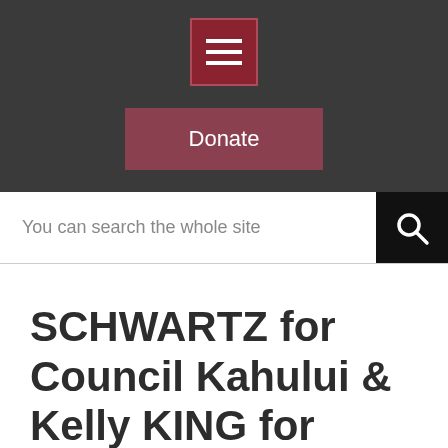[Figure (screenshot): Dark header bar with hamburger menu icon button (dark red/maroon square with three white horizontal lines) centered at top]
Donate
You can search the whole site
SCHWARTZ for Council Kahului & Kelly KING for MAYOR 6-3-22